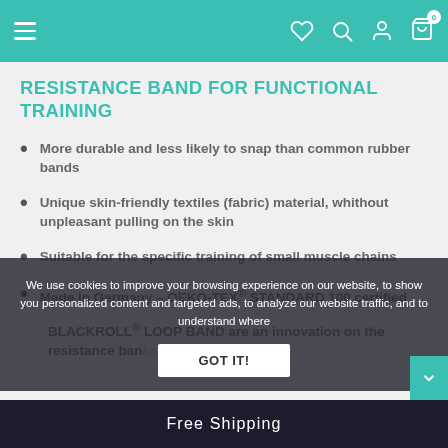Navigation bar with hamburger menu, heart, search, account, cart icons
RESISTANCE BAND FOR FUNCTIONAL TRAINING
More durable and less likely to snap than common rubber bands
Unique skin-friendly textiles (fabric) material, whithout unpleasant pulling on the skin
Suitable for the specific training of small muscle chains
Made in Germany – OEKO-TEX® STANDARD 100 certified
BLACKROLL® LOOP BAND are an innovation on the resistance band market and are specially
We use cookies to improve your browsing experience on our website, to show you personalized content and targeted ads, to analyze our website traffic, and to understand where
GOT IT!
Free Shipping